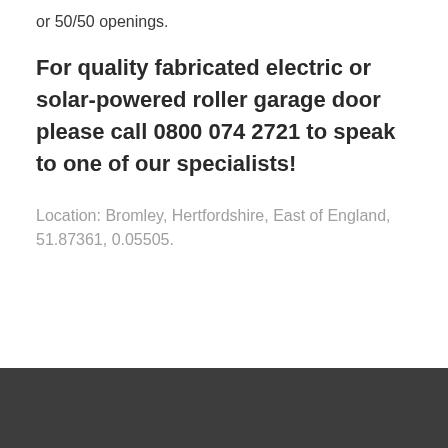or 50/50 openings.
For quality fabricated electric or solar-powered roller garage door please call 0800 074 2721 to speak to one of our specialists!
Location: Bromley, Hertfordshire, East of England, 51.87361, 0.05505.